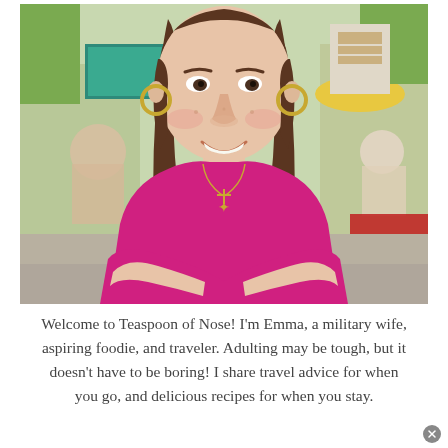[Figure (photo): A smiling young woman with long brown hair wearing a pink top and gold necklace, sitting at an outdoor cafe/street setting with blurred background showing tables, umbrellas, and greenery.]
Welcome to Teaspoon of Nose! I'm Emma, a military wife, aspiring foodie, and traveler. Adulting may be tough, but it doesn't have to be boring! I share travel advice for when you go, and delicious recipes for when you stay.